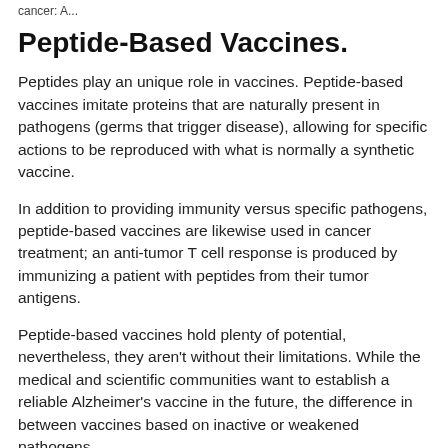cancer: A...
Peptide-Based Vaccines.
Peptides play an unique role in vaccines. Peptide-based vaccines imitate proteins that are naturally present in pathogens (germs that trigger disease), allowing for specific actions to be reproduced with what is normally a synthetic vaccine.
In addition to providing immunity versus specific pathogens, peptide-based vaccines are likewise used in cancer treatment; an anti-tumor T cell response is produced by immunizing a patient with peptides from their tumor antigens.
Peptide-based vaccines hold plenty of potential, nevertheless, they aren't without their limitations. While the medical and scientific communities want to establish a reliable Alzheimer's vaccine in the future, the difference in between vaccines based on inactive or weakened pathogens